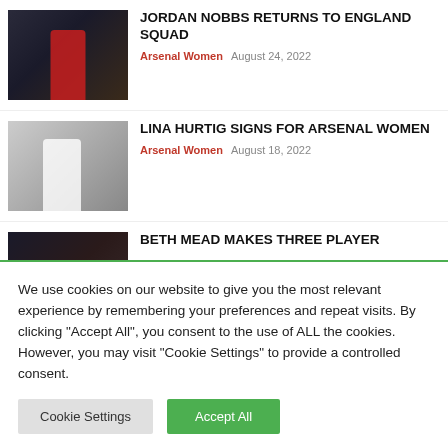[Figure (photo): Football player wearing red Arsenal kit number 8 on a dark pitch]
JORDAN NOBBS RETURNS TO ENGLAND SQUAD
Arsenal Women  August 24, 2022
[Figure (photo): Football player in black and white striped kit running on pitch]
LINA HURTIG SIGNS FOR ARSENAL WOMEN
Arsenal Women  August 18, 2022
[Figure (photo): Female football player with blonde ponytail in red kit]
BETH MEAD MAKES THREE PLAYER SHORTLIST FOR...
We use cookies on our website to give you the most relevant experience by remembering your preferences and repeat visits. By clicking "Accept All", you consent to the use of ALL the cookies. However, you may visit "Cookie Settings" to provide a controlled consent.